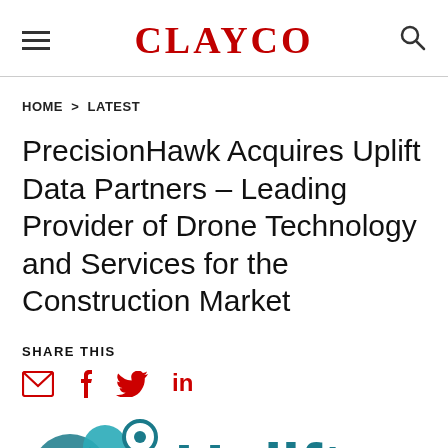CLAYCO
HOME > LATEST
PrecisionHawk Acquires Uplift Data Partners – Leading Provider of Drone Technology and Services for the Construction Market
SHARE THIS
[Figure (logo): Social sharing icons: email, Facebook, Twitter, LinkedIn in red/dark red color]
[Figure (logo): Uplift Data Partners logo with teal drone/hawk graphic and teal 'Uplift' text, partially visible at bottom of page]